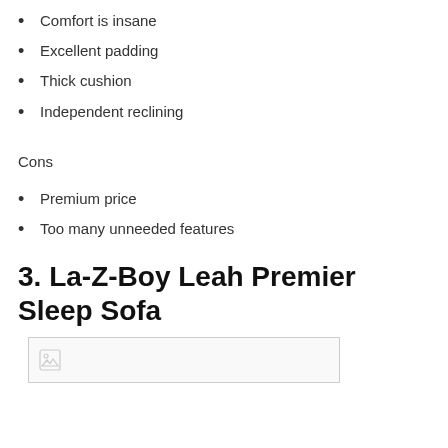Comfort is insane
Excellent padding
Thick cushion
Independent reclining
Cons
Premium price
Too many unneeded features
3. La-Z-Boy Leah Premier Sleep Sofa
[Figure (photo): Image placeholder for La-Z-Boy Leah Premier Sleep Sofa]